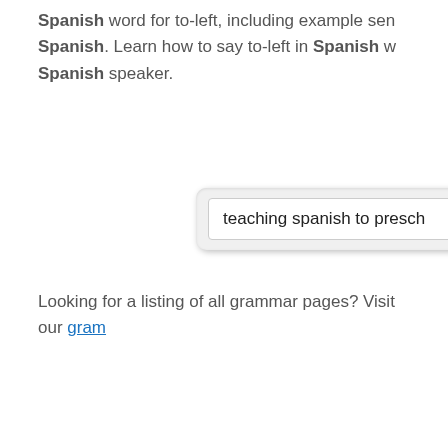Spanish word for to-left, including example sentences in Spanish. Learn how to say to-left in Spanish with a Spanish speaker.
[Figure (screenshot): A search input box containing the text 'teaching spanish to presch']
Looking for a listing of all grammar pages? Visit our gram